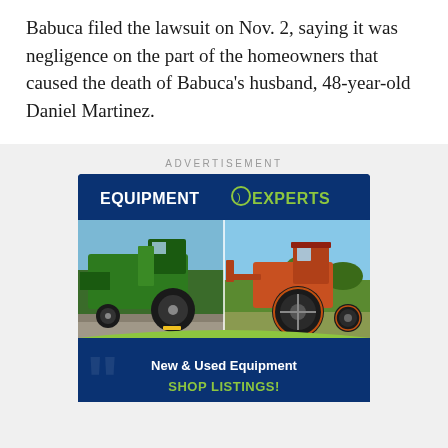Babuca filed the lawsuit on Nov. 2, saying it was negligence on the part of the homeowners that caused the death of Babuca's husband, 48-year-old Daniel Martinez.
ADVERTISEMENT
[Figure (illustration): Equipment Experts advertisement banner showing a green combine harvester and an orange tractor, with text 'New & Used Equipment SHOP LISTINGS!']